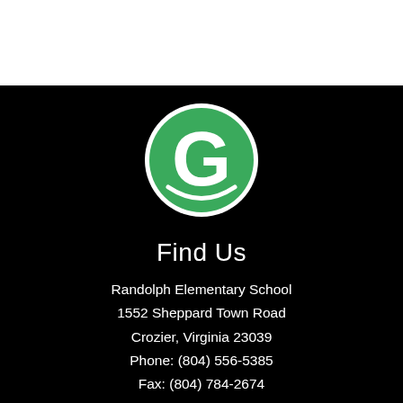[Figure (logo): Green circle logo with white letter G inside]
Find Us
Randolph Elementary School
1552 Sheppard Town Road
Crozier, Virginia 23039
Phone: (804) 556-5385
Fax: (804) 784-2674